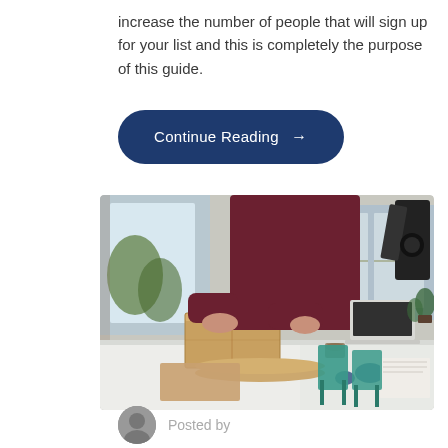increase the number of people that will sign up for your list and this is completely the purpose of this guide.
Continue Reading →
[Figure (photo): A person in a dark red shirt leaning over a white table, handling a cardboard box. The workspace has a laptop, papers, cups, and teal chairs visible in the background near large windows.]
Posted by